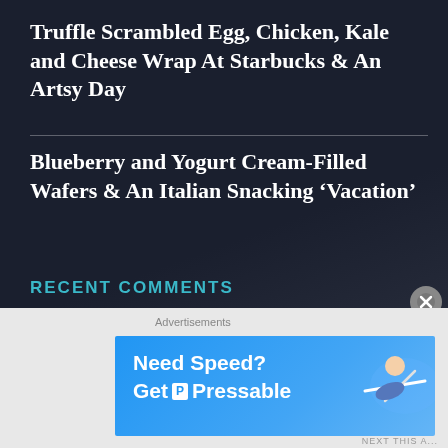Truffle Scrambled Egg, Chicken, Kale and Cheese Wrap At Starbucks & An Artsy Day
Blueberry and Yogurt Cream-Filled Wafers & An Italian Snacking ‘Vacation’
RECENT COMMENTS
thejourneyndestinati… on Hazelnut Nougat-Filled Dark Ch…
Monch Weller on Hazelnut Nougat-Filled Dark Ch…
Hazelnut Nougat-Fill… on Finnish Milk
Advertisements
[Figure (screenshot): Advertisement banner: Need Speed? Get Pressable on blue background with a person flying]